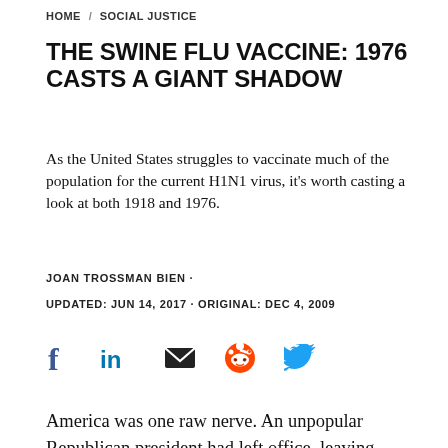HOME / SOCIAL JUSTICE
THE SWINE FLU VACCINE: 1976 CASTS A GIANT SHADOW
As the United States struggles to vaccinate much of the population for the current H1N1 virus, it's worth casting a look at both 1918 and 1976.
JOAN TROSSMAN BIEN ·
UPDATED: JUN 14, 2017 · ORIGINAL: DEC 4, 2009
[Figure (infographic): Social share icons: Facebook (f), LinkedIn (in), Email (envelope), Reddit (alien), Twitter (bird)]
America was one raw nerve. An unpopular Republican president had left office, leaving behind an unpopular war to wind down. Democrats now ruled both houses of Congress. The sitting president, a Midwesterner whose ascendancy had been historic, came in without